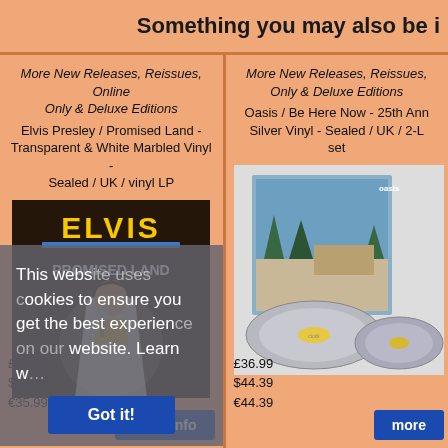Something you may also be i
More New Releases, Reissues, Online Only & Deluxe Editions
Elvis Presley / Promised Land - Transparent & White Marbled Vinyl - Sealed / UK / vinyl LP
[Figure (photo): Elvis Presley Promised Land album cover and vinyl LP product photo]
This website uses cookies to ensure you get the best experience on our website. Learn w... Got it!
£29.99
$35.99
€35.99
more info
More New Releases, Reissues, Online Only & Deluxe Editions
Oasis / Be Here Now - 25th Ann Silver Vinyl - Sealed / UK / 2-L set
[Figure (photo): Oasis Be Here Now 25th Anniversary silver vinyl 2-LP set product photo]
£36.99
$44.39
€44.39
more